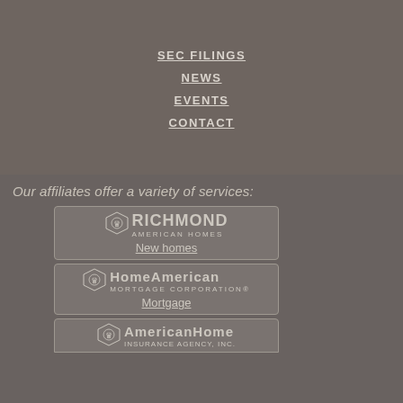SEC FILINGS
NEWS
EVENTS
CONTACT
Our affiliates offer a variety of services:
[Figure (logo): Richmond American Homes logo with decorative lion crest icon]
New homes
[Figure (logo): HomeAmerican Mortgage Corporation logo with decorative lion crest icon]
Mortgage
[Figure (logo): American Home Insurance Agency Inc. logo with decorative lion crest icon (partially visible)]